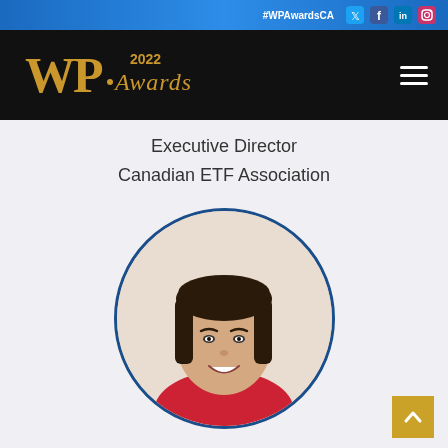#WPAwardsCA
[Figure (logo): WP Awards 2022 logo in gold on black navigation bar]
Executive Director
Canadian ETF Association
[Figure (photo): Circular portrait photo of a young woman with dark shoulder-length hair, smiling, wearing a red top]